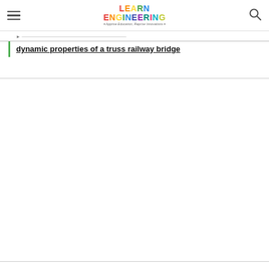LEARN ENGINEERING - Apprise Education, Reprise Innovations
dynamic properties of a truss railway bridge